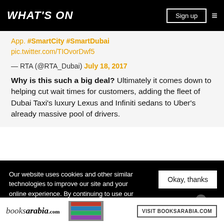WHAT'S ON
App. #SmartCity #SmartDubai pic.twitter.com/TIOvorDwf5
— RTA (@RTA_Dubai) July 18, 2017
Why is this such a big deal? Ultimately it comes down to helping cut wait times for customers, adding the fleet of Dubai Taxi's luxury Lexus and Infiniti sedans to Uber's already massive pool of drivers.
Our website uses cookies and other similar technologies to improve our site and your online experience. By continuing to use our website you consent ... our pr...